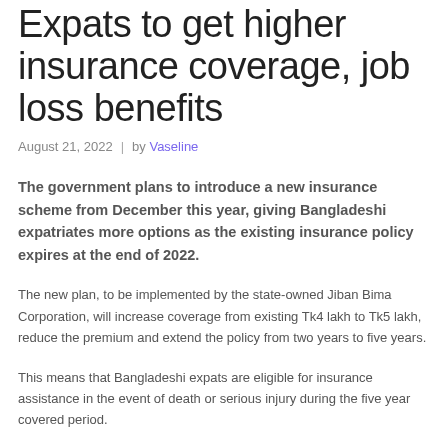Expats to get higher insurance coverage, job loss benefits
August 21, 2022  |  by Vaseline
The government plans to introduce a new insurance scheme from December this year, giving Bangladeshi expatriates more options as the existing insurance policy expires at the end of 2022.
The new plan, to be implemented by the state-owned Jiban Bima Corporation, will increase coverage from existing Tk4 lakh to Tk5 lakh, reduce the premium and extend the policy from two years to five years.
This means that Bangladeshi expats are eligible for insurance assistance in the event of death or serious injury during the five year covered period.